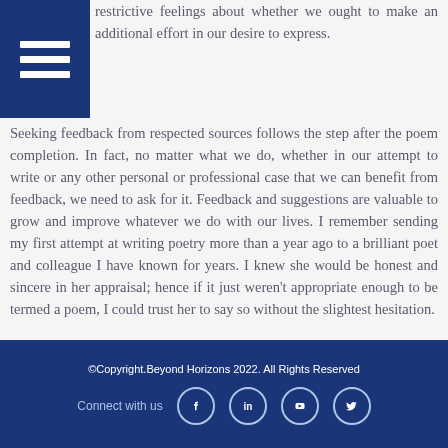[Figure (other): Blue hamburger menu icon in top-left corner]
restrictive feelings about whether we ought to make an additional effort in our desire to express. Seeking feedback from respected sources follows the step after the poem completion. In fact, no matter what we do, whether in our attempt to write or any other personal or professional case that we can benefit from feedback, we need to ask for it. Feedback and suggestions are valuable to grow and improve whatever we do with our lives. I remember sending my first attempt at writing poetry more than a year ago to a brilliant poet and colleague I have known for years. I knew she would be honest and sincere in her appraisal; hence if it just weren't appropriate enough to be termed a poem, I could trust her to say so without the slightest hesitation.
Emotions and Imagery – Associating Life with Writing
©Copyright.Beyond Horizons 2022. All Rights Reserved
Connect with us